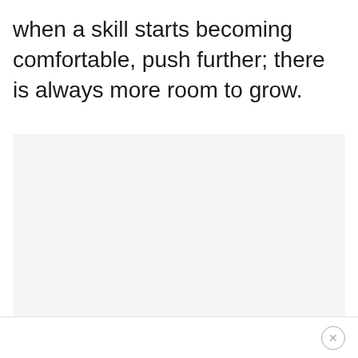when a skill starts becoming comfortable, push further; there is always more room to grow.
[Figure (other): Large empty light gray rectangular box, representing a content placeholder or image area.]
×